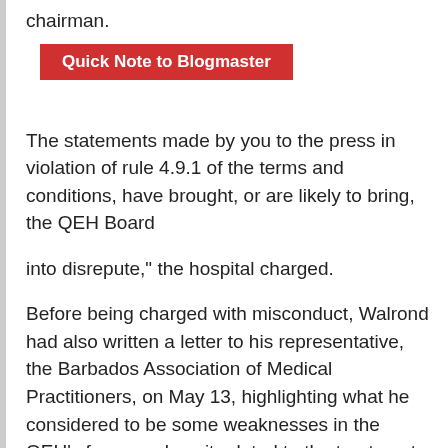chairman.
Quick Note to Blogmaster
The statements made by you to the press in violation of rule 4.9.1 of the terms and conditions, have brought, or are likely to bring, the QEH Board
into disrepute," the hospital charged.
Before being charged with misconduct, Walrond had also written a letter to his representative, the Barbados Association of Medical Practitioners, on May 13, highlighting what he considered to be some weaknesses in the QEH's framework as it related to the treatment of COVID-19 patients.
On May 22, the QEH held a press